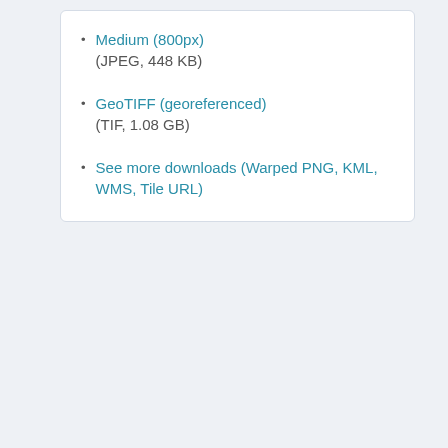Medium (800px)
(JPEG, 448 KB)
GeoTIFF (georeferenced)
(TIF, 1.08 GB)
See more downloads (Warped PNG, KML, WMS, Tile URL)